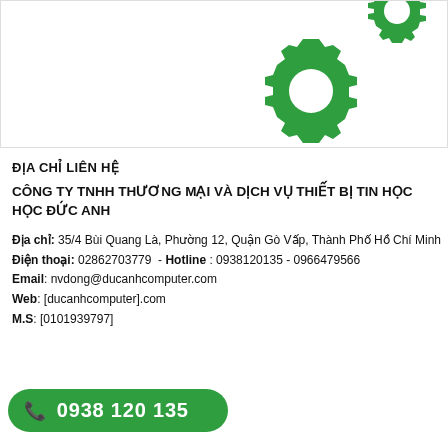[Figure (illustration): Two green gear/cog icons on white background with light border. One gear partially visible at top right, one larger gear below it.]
ĐỊA CHỈ LIÊN HỆ
CÔNG TY TNHH THƯƠNG MẠI VÀ DỊCH VỤ THIẾT BỊ TIN HỌC HỌC ĐỨC ANH
Địa chỉ: 35/4 Bùi Quang Là, Phường 12, Quận Gò Vấp, Thành Phố Hồ Chí Minh
Điện thoại: 02862703779 - Hotline : 0938120135 - 0966479566
Email: nvdong@ducanhcomputer.com
Web: [ducanhcomputer].com
M.S: [0101939797]
[Figure (infographic): Green rounded pill-shaped phone button with phone icon and number 0938 120 135]